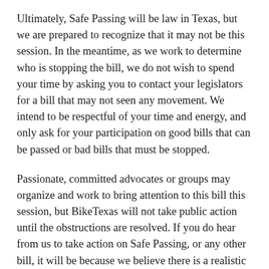Ultimately, Safe Passing will be law in Texas, but we are prepared to recognize that it may not be this session. In the meantime, as we work to determine who is stopping the bill, we do not wish to spend your time by asking you to contact your legislators for a bill that may not seen any movement. We intend to be respectful of your time and energy, and only ask for your participation on good bills that can be passed or bad bills that must be stopped.
Passionate, committed advocates or groups may organize and work to bring attention to this bill this session, but BikeTexas will not take public action until the obstructions are resolved. If you do hear from us to take action on Safe Passing, or any other bill, it will be because we believe there is a realistic path to success.
BikeTexas thanks Representative Lopez and his staff for their dedication and support of this critical Safe Passing